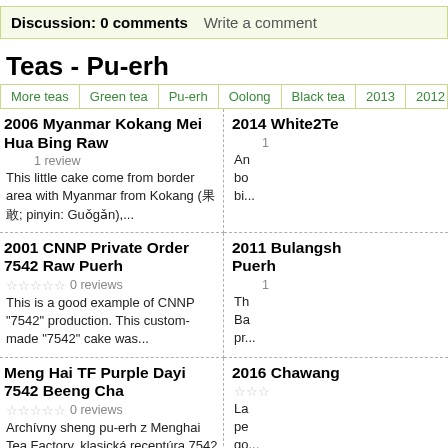Discussion: 0 comments   Write a comment
Teas - Pu-erh
More teas | Green tea | Pu-erh | Oolong | Black tea | 2013 | 2012
2006 Myanmar Kokang Mei Hua Bing Raw
1 review
This little cake come from border area with Myanmar from Kokang (果敢; pinyin: Guǒgǎn),...
2014 White2Te
1 review
An bo bi...
2001 CNNP Private Order 7542 Raw Puerh
0 reviews
This is a good example of CNNP "7542" production. This custom-made "7542" cake was...
2011 Bulangshan Puerh
1 review
Th Ba pr...
Meng Hai TF Purple Dayi 7542 Beeng Cha
0 reviews
Archívny sheng pu-erh z Menghai Tea Factory, klasická receptúra 7542 z roku 1975,...
2016 Chawang
La pe go...